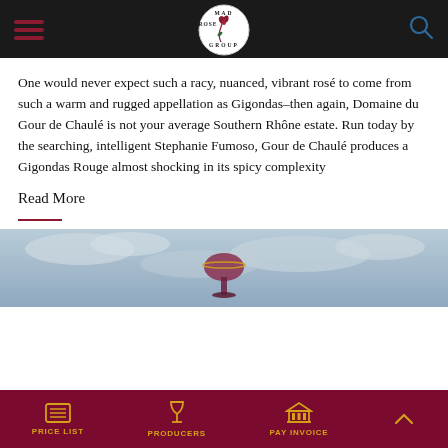Mad Rose Group — navigation header with hamburger menu and search icon
One would never expect such a racy, nuanced, vibrant rosé to come from such a warm and rugged appellation as Gigondas–then again, Domaine du Gour de Chaulé is not your average Southern Rhône estate. Run today by the searching, intelligent Stephanie Fumoso, Gour de Chaulé produces a Gigondas Rouge almost shocking in its spicy complexity
Read More
[Figure (photo): Photo of a wine glass with rosé wine held up against a cloudy sky]
PRICE LIST | PRODUCERS | PAY INVOICE